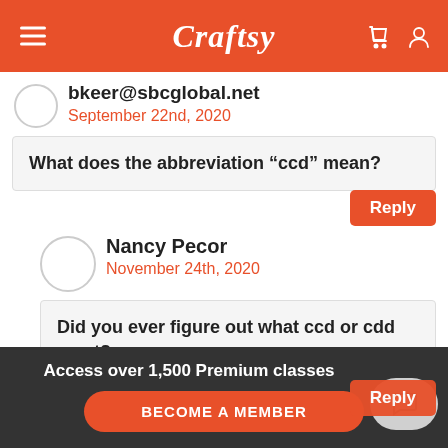Craftsy
bkeer@sbcglobal.net
September 22nd, 2020
What does the abbreviation “ccd” mean?
Reply
Nancy Pecor
November 24th, 2020
Did you ever figure out what ccd or cdd ment?
Reply
Access over 1,500 Premium classes
BECOME A MEMBER